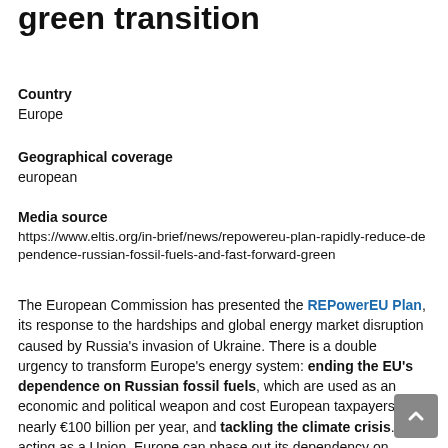green transition
Country
Europe
Geographical coverage
european
Media source
https://www.eltis.org/in-brief/news/repowereu-plan-rapidly-reduce-dependence-russian-fossil-fuels-and-fast-forward-green
The European Commission has presented the REPowerEU Plan, its response to the hardships and global energy market disruption caused by Russia's invasion of Ukraine. There is a double urgency to transform Europe's energy system: ending the EU's dependence on Russian fossil fuels, which are used as an economic and political weapon and cost European taxpayers nearly €100 billion per year, and tackling the climate crisis. By acting as a Union, Europe can phase out its dependency on Russian fossil fuels faster. 85% of Europeans believe that the EU should reduce its dependency on Russian gas and oil as soon as possible to support Ukraine. The measures in the REPowerEU